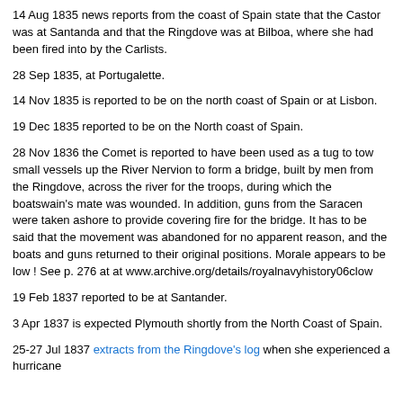14 Aug 1835 news reports from the coast of Spain state that the Castor was at Santanda and that the Ringdove was at Bilboa, where she had been fired into by the Carlists.
28 Sep 1835, at Portugalette.
14 Nov 1835 is reported to be on the north coast of Spain or at Lisbon.
19 Dec 1835 reported to be on the North coast of Spain.
28 Nov 1836 the Comet is reported to have been used as a tug to tow small vessels up the River Nervion to form a bridge, built by men from the Ringdove, across the river for the troops, during which the boatswain's mate was wounded. In addition, guns from the Saracen were taken ashore to provide covering fire for the bridge. It has to be said that the movement was abandoned for no apparent reason, and the boats and guns returned to their original positions. Morale appears to be low ! See p. 276 at at www.archive.org/details/royalnavyhistory06clow
19 Feb 1837 reported to be at Santander.
3 Apr 1837 is expected Plymouth shortly from the North Coast of Spain.
25-27 Jul 1837 extracts from the Ringdove's log when she experienced a hurricane